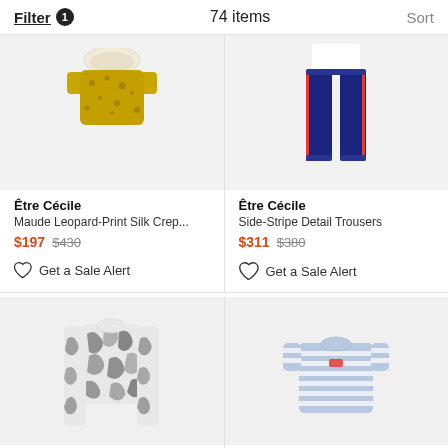Filter 1   74 items   Sort
[Figure (photo): Gold/yellow sequined short-sleeve top on white background]
Être Cécile
Maude Leopard-Print Silk Crep...
$197 $430
Get a Sale Alert
[Figure (photo): White top with navy wide-leg trousers on white background]
Être Cécile
Side-Stripe Detail Trousers
$311 $380
Get a Sale Alert
[Figure (photo): Black and white animal print long-sleeve top on light grey background]
Être Cécile
[Figure (photo): Light blue and white striped t-shirt with small red logo on light grey background]
Être Cécile